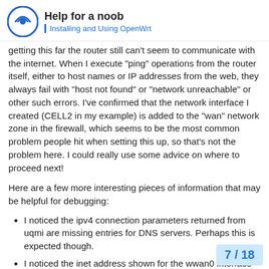Help for a noob
Installing and Using OpenWrt
getting this far the router still can't seem to communicate with the internet. When I execute "ping" operations from the router itself, either to host names or IP addresses from the web, they always fail with "host not found" or "network unreachable" or other such errors. I've confirmed that the network interface I created (CELL2 in my example) is added to the "wan" network zone in the firewall, which seems to be the most common problem people hit when setting this up, so that's not the problem here. I could really use some advice on where to proceed next!
Here are a few more interesting pieces of information that may be helpful for debugging:
I noticed the ipv4 connection parameters returned from uqmi are missing entries for DNS servers. Perhaps this is expected though.
I noticed the inet address shown for the wwan0 interface in the ifconfig output doesn't match th returned from the uqmi command. Ac
7 / 18